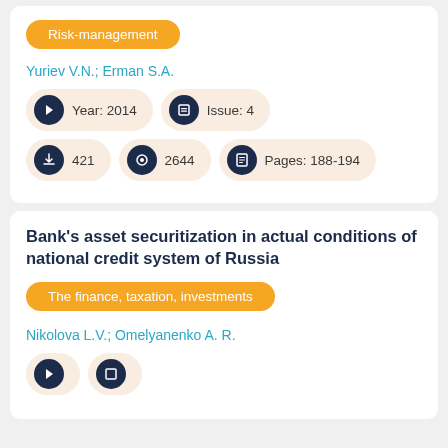Risk-management
Yuriev V.N.; Erman S.A.
Year: 2014
Issue: 4
421
2644
Pages: 188-194
Bank's asset securitization in actual conditions of national credit system of Russia
The finance, taxation, investments
Nikolova L.V.; Omelyanenko A. R.